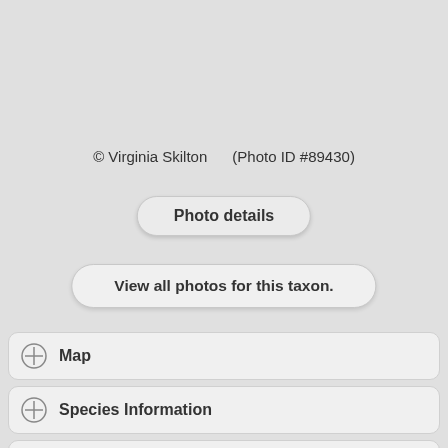© Virginia Skilton    (Photo ID #89430)
Photo details
View all photos for this taxon.
Map
Species Information
Illustration